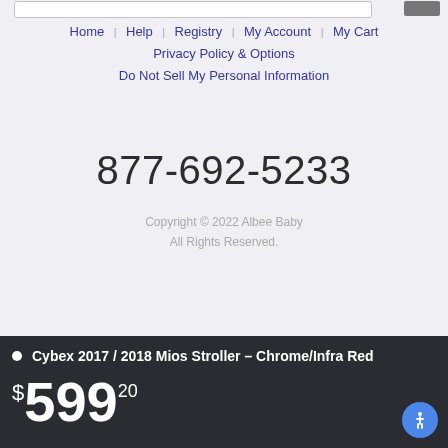Home | Help | Registry | My Account | My Cart | Privacy Policy & Options | Do Not Sell My Personal Information
877-692-5233
Copyright © 2022 Albee Baby
All Rights Reserved.
Cybex 2017 / 2018 Mios Stroller - Chrome/Infra Red  $599.20